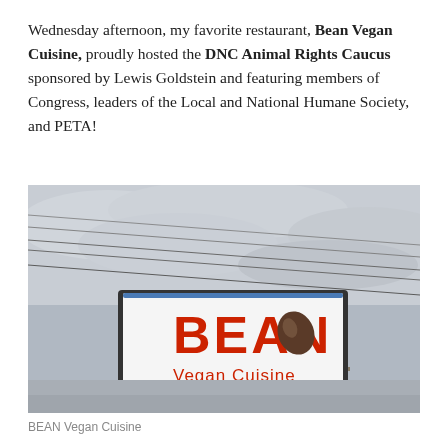Wednesday afternoon, my favorite restaurant, Bean Vegan Cuisine, proudly hosted the DNC Animal Rights Caucus sponsored by Lewis Goldstein and featuring members of Congress, leaders of the Local and National Humane Society, and PETA!
[Figure (photo): Outdoor sign reading 'BEAN Vegan Cuisine' mounted on a pole against a cloudy grey sky, with power lines visible]
BEAN Vegan Cuisine